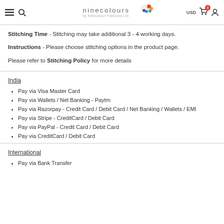ninecolours by Ninecolour Fashions Ltd. USD 0
Stitching Time - Stitching may take additional 3 - 4 working days.

Instructions - Please choose stitching options in the product page.

Please refer to Stitching Policy for more details
India
Pay via Visa Master Card
Pay via Wallets / Net Banking - Paytm
Pay via Razorpay - Credit Card / Debit Card / Net Banking / Wallets / EMI
Pay via Stripe - CreditCard / Debit Card
Pay via PayPal - Credit Card / Debit Card
Pay via CreditCard / Debit Card
International
Pay via Bank Transfer